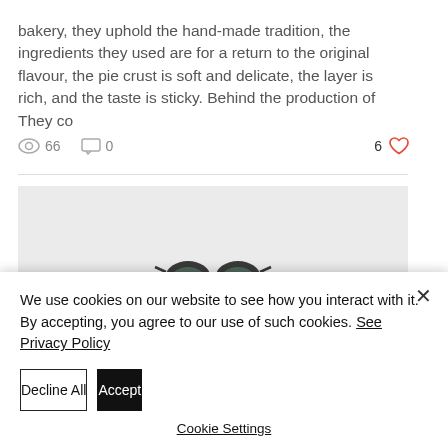bakery, they uphold the hand-made tradition, the ingredients they used are for a return to the original flavour, the pie crust is soft and delicate, the layer is rich, and the taste is sticky. Behind the production of They co
66 views  0 comments  6 likes
[Figure (photo): Blog post thumbnail showing sunglasses on a light background]
We use cookies on our website to see how you interact with it. By accepting, you agree to our use of such cookies. See Privacy Policy
Decline All
Accept
Cookie Settings